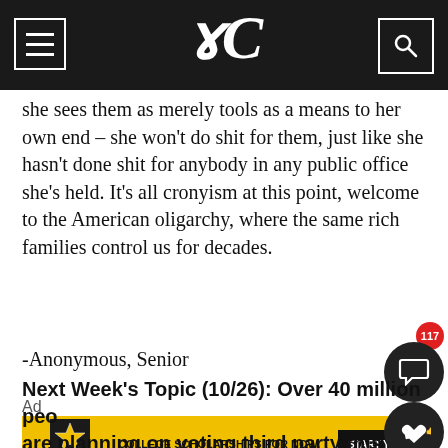The Clarion [newspaper masthead with menu and search icons]
she sees them as merely tools as a means to her own end – she won't do shit for them, just like she hasn't done shit for anybody in any public office she's held. It's all cronyism at this point, welcome to the American oligarchy, where the same rich families control us for decades.
-Anonymous, Senior
Ad
[Figure (other): US Army ROTC advertisement banner in yellow with black text reading COLLEGE SCHOLARSHIPS FOR NOW. LIFE SKILLS FOR EVER. with a START YOUR JOURNEY call-to-action button]
Next Week's Topic (10/26): Over 40 million peo are planning on voting third party this electio Do third parties deserve to have a place on the